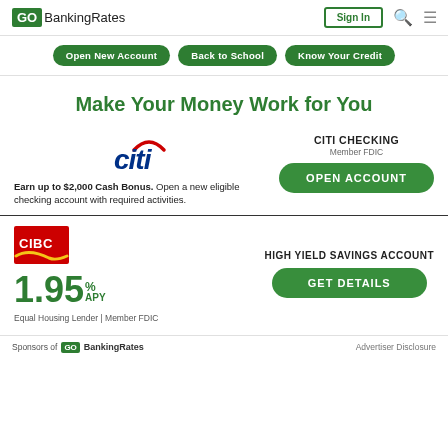GoBankingRates | Sign In
Open New Account | Back to School | Know Your Credit
Make Your Money Work for You
[Figure (logo): Citi bank logo with red arc over blue italic citi text]
CITI CHECKING
Member FDIC
OPEN ACCOUNT
Earn up to $2,000 Cash Bonus. Open a new eligible checking account with required activities.
[Figure (logo): CIBC logo red rectangle with yellow swoosh]
1.95% APY
Equal Housing Lender | Member FDIC
HIGH YIELD SAVINGS ACCOUNT
GET DETAILS
Sponsors of GoBankingRates   Advertiser Disclosure